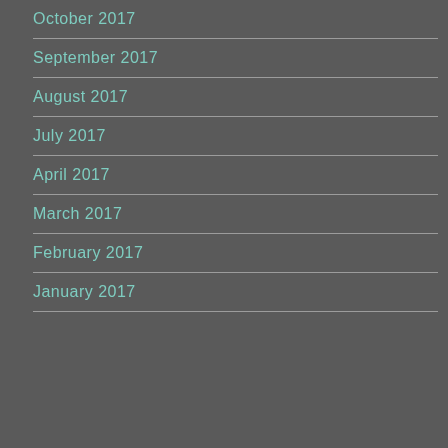October 2017
September 2017
August 2017
July 2017
April 2017
March 2017
February 2017
January 2017